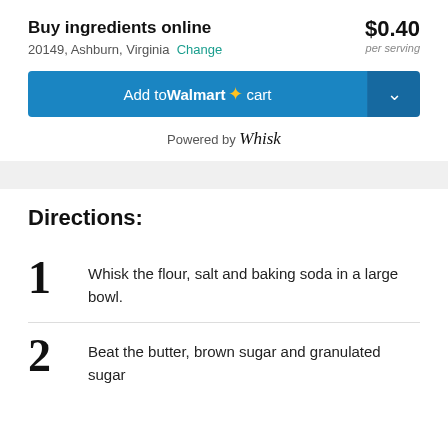Buy ingredients online  $0.40 per serving
20149, Ashburn, Virginia  Change
[Figure (screenshot): Add to Walmart cart button with chevron dropdown, blue background, Walmart spark logo]
Powered by Whisk
Directions:
1  Whisk the flour, salt and baking soda in a large bowl.
2  Beat the butter, brown sugar and granulated sugar